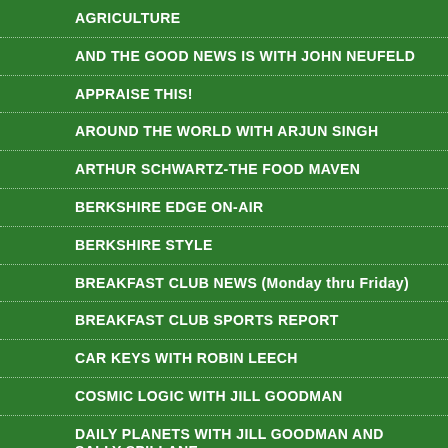AGRICULTURE
AND THE GOOD NEWS IS WITH JOHN NEUFELD
APPRAISE THIS!
AROUND THE WORLD WITH ARJUN SINGH
ARTHUR SCHWARTZ-THE FOOD MAVEN
BERKSHIRE EDGE ON-AIR
BERKSHIRE STYLE
BREAKFAST CLUB NEWS (Monday thru Friday)
BREAKFAST CLUB SPORTS REPORT
CAR KEYS WITH ROBIN LEECH
COSMIC LOGIC WITH JILL GOODMAN
DAILY PLANETS WITH JILL GOODMAN AND SALLY SPILLANE